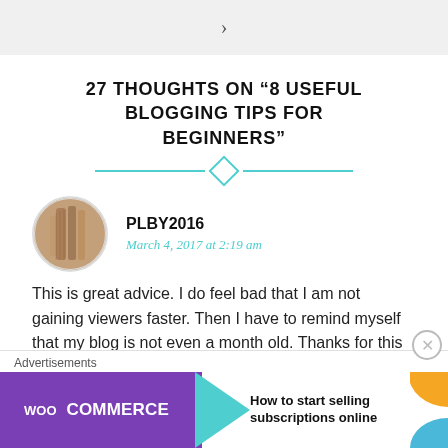>
27 THOUGHTS ON “8 USEFUL BLOGGING TIPS FOR BEGINNERS”
[Figure (illustration): Decorative divider: two horizontal teal lines flanking a teal diamond shape]
[Figure (photo): Circular avatar photo of a person wrapped in fabric with text/markings]
PLBY2016
March 4, 2017 at 2:19 am
This is great advice. I do feel bad that I am not gaining viewers faster. Then I have to remind myself that my blog is not even a month old. Thanks for this article.
[Figure (screenshot): WooCommerce advertisement banner: purple background with WooCommerce logo and arrow, white section with text 'How to start selling subscriptions online', orange and blue decorative shapes]
Advertisements